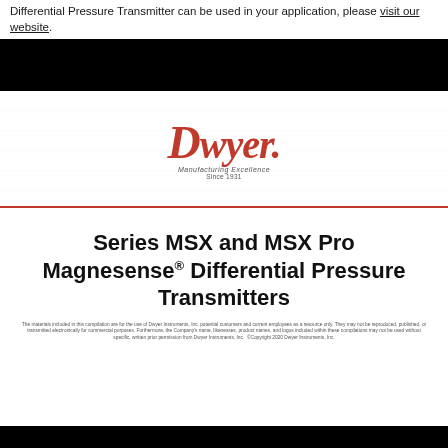Differential Pressure Transmitter can be used in your application, please visit our website.
[Figure (logo): Dwyer Instruments logo with tagline 'Manufacturing Excellence Since 1931']
Series MSX and MSX Pro Magnesense® Differential Pressure Transmitters
The materials included in this compilation are for the use of Dwyer Instruments, Inc. potential customers and current employees as a resource only. They may not be reproduced, published, or transmitted electronically for commercial purposes. Furthermore, the Company's name, likenesses, product names and logos included within these compilations may not be used without specific, written prior permission from Dwyer Instruments, Inc. ©Copyright 2020 Dwyer Instruments, Inc.